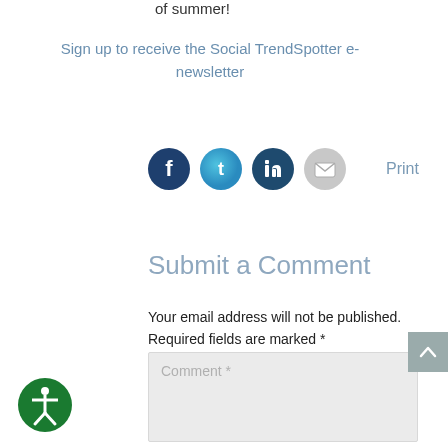of summer!
Sign up to receive the Social TrendSpotter e-newsletter
[Figure (infographic): Social media sharing icons: Facebook (dark blue circle with f), Twitter (light blue circle with bird), LinkedIn (dark blue circle with in), Email (gray circle with envelope), and a Print text link]
Submit a Comment
Your email address will not be published. Required fields are marked *
Comment *